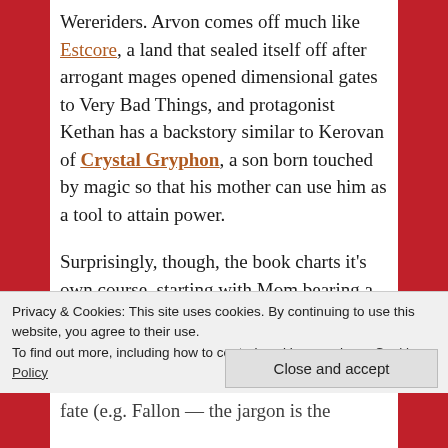Wereriders. Arvon comes off much like Estcore, a land that sealed itself off after arrogant mages opened dimensional gates to Very Bad Things, and protagonist Kethan has a backstory similar to Kerovan of Crystal Gryphon, a son born touched by magic so that his mother can use him as a tool to attain power.

Surprisingly, though, the book charts it's own course, starting with Mom bearing a girl, whom she promptly swaps for the son of another woman (Gillan of Unicorn). Like so many Witch World protagonists,
Privacy & Cookies: This site uses cookies. By continuing to use this website, you agree to their use.
To find out more, including how to control cookies, see here: Cookie Policy
Close and accept
fate (e.g. Fallon — the jargon is the